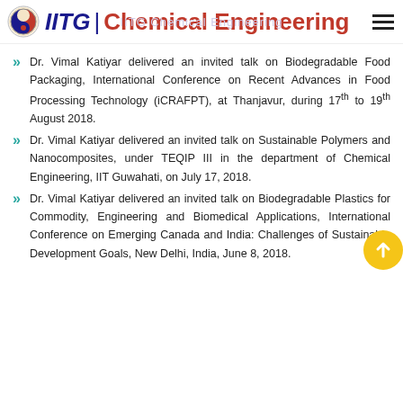IITG | Chemical Engineering
Dr. Vimal Katiyar delivered an invited talk on Biodegradable Food Packaging, International Conference on Recent Advances in Food Processing Technology (iCRAFPT), at Thanjavur, during 17th to 19th August 2018.
Dr. Vimal Katiyar delivered an invited talk on Sustainable Polymers and Nanocomposites, under TEQIP III in the department of Chemical Engineering, IIT Guwahati, on July 17, 2018.
Dr. Vimal Katiyar delivered an invited talk on Biodegradable Plastics for Commodity, Engineering and Biomedical Applications, International Conference on Emerging Canada and India: Challenges of Sustainable Development Goals, New Delhi, India, June 8, 2018.